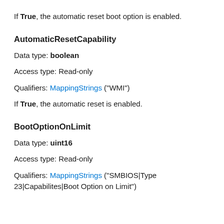If True, the automatic reset boot option is enabled.
AutomaticResetCapability
Data type: boolean
Access type: Read-only
Qualifiers: MappingStrings ("WMI")
If True, the automatic reset is enabled.
BootOptionOnLimit
Data type: uint16
Access type: Read-only
Qualifiers: MappingStrings ("SMBIOS|Type 23|Capabilites|Boot Option on Limit")